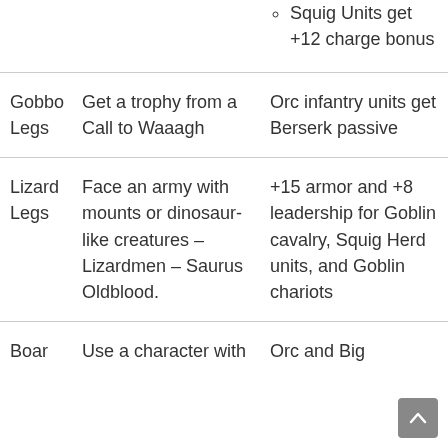Squig Units get +12 charge bonus
| Name | Condition | Effect |
| --- | --- | --- |
| Gobbo Legs | Get a trophy from a Call to Waaagh | Orc infantry units get Berserk passive |
| Lizard Legs | Face an army with mounts or dinosaur-like creatures – Lizardmen – Saurus Oldblood. | +15 armor and +8 leadership for Goblin cavalry, Squig Herd units, and Goblin chariots |
| Boar | Use a character with | Orc and Big |